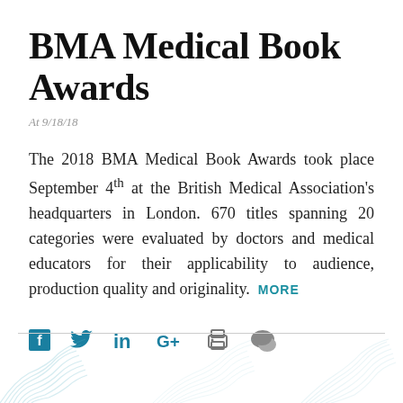BMA Medical Book Awards
At 9/18/18
The 2018 BMA Medical Book Awards took place September 4th at the British Medical Association's headquarters in London. 670 titles spanning 20 categories were evaluated by doctors and medical educators for their applicability to audience, production quality and originality.  MORE
[Figure (other): Social media sharing icons: Facebook, Twitter, LinkedIn, Google+, Print, Comment]
[Figure (illustration): Decorative wavy line pattern in light teal/grey at the bottom of the page]